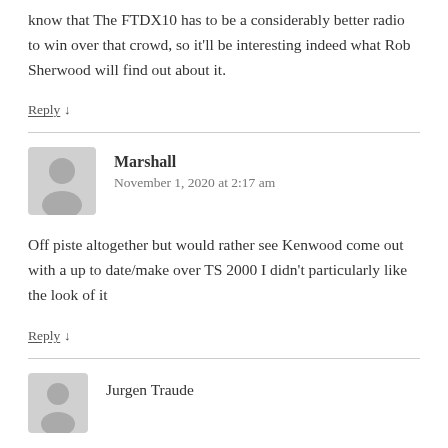know that The FTDX10 has to be a considerably better radio to win over that crowd, so it'll be interesting indeed what Rob Sherwood will find out about it.
Reply ↓
Marshall
November 1, 2020 at 2:17 am
Off piste altogether but would rather see Kenwood come out with a up to date/make over TS 2000 I didn't particularly like the look of it
Reply ↓
Jurgen Traude